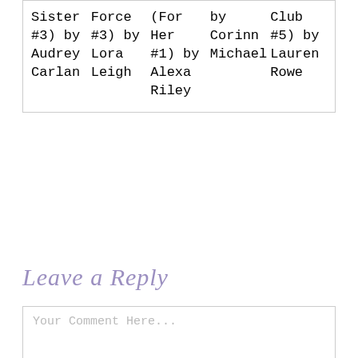| Col1 | Col2 | Col3 | Col4 | Col5 |
| --- | --- | --- | --- | --- |
| Sister #3) by Audrey Carlan | Force #3) by Lora Leigh | (For Her #1) by Alexa Riley | by Corinn Michael | Club #5) by Lauren Rowe |
Leave a Reply
Your Comment Here...
Name *
Your Name
Email *